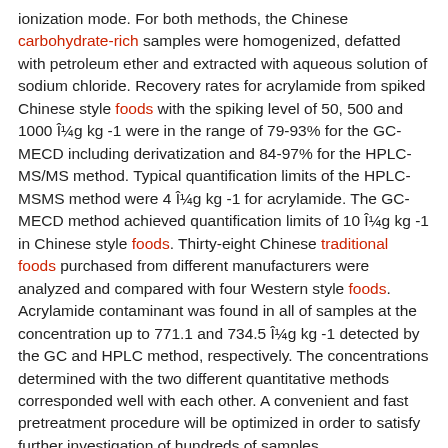ionization mode. For both methods, the Chinese carbohydrate-rich samples were homogenized, defatted with petroleum ether and extracted with aqueous solution of sodium chloride. Recovery rates for acrylamide from spiked Chinese style foods with the spiking level of 50, 500 and 1000 μg kg -1 were in the range of 79-93% for the GC-MECD including derivatization and 84-97% for the HPLC-MS/MS method. Typical quantification limits of the HPLC-MSMS method were 4 μg kg -1 for acrylamide. The GC-MECD method achieved quantification limits of 10 μg kg -1 in Chinese style foods. Thirty-eight Chinese traditional foods purchased from different manufacturers were analyzed and compared with four Western style foods. Acrylamide contaminant was found in all of samples at the concentration up to 771.1 and 734.5 μg kg -1 detected by the GC and HPLC method, respectively. The concentrations determined with the two different quantitative methods corresponded well with each other. A convenient and fast pretreatment procedure will be optimized in order to satisfy further investigation of hundreds of samples
3. Identification and determination of 3-deoxyglucosone and glucosone in carbohydrate-rich foods.